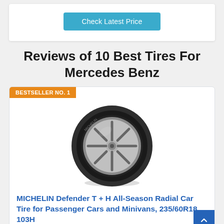[Figure (screenshot): Check Latest Price button — blue rounded rectangle with white text]
Reviews of 10 Best Tires For Mercedes Benz
BESTSELLER NO. 1
[Figure (photo): Michelin Defender T+H tire on alloy wheel, black tire with silver multi-spoke rim, shadow beneath]
MICHELIN Defender T + H All-Season Radial Car Tire for Passenger Cars and Minivans, 235/60R18 103H